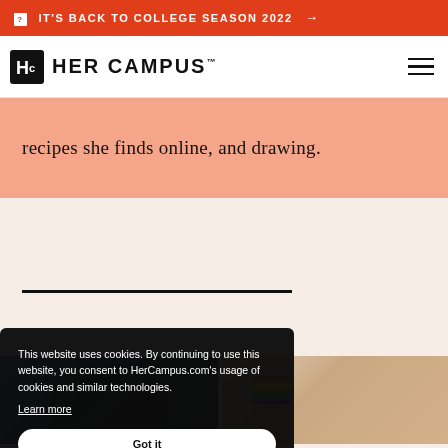IT'S BACK TO COLLEGE SEASON 2022 →
[Figure (logo): Her Campus logo with Hc monogram and wordmark]
recipes she finds online, and drawing.
[Figure (photo): Two photos side by side: left shows a person with headphones against teal background; right shows two people in white crop tops with a rainbow painted on one arm]
This website uses cookies. By continuing to use this website, you consent to HerCampus.com's usage of cookies and similar technologies. Learn more
Got it